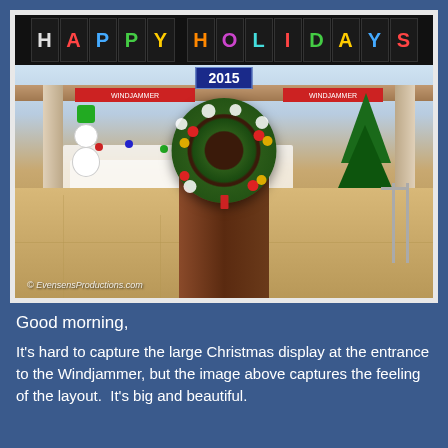[Figure (photo): Interior of a mall or cruise ship food court decorated for Christmas/Happy Holidays 2015. A 'HAPPY HOLIDAYS' banner in colorful letters on black squares hangs across the top. A '2015' banner is below it. The scene shows Christmas displays, snowmen figures, a Christmas tree on the right, tables with white cloths and holiday decorations. In the foreground, a dark wood podium/stand with a large Christmas wreath decorated with red and gold ornaments. Watermark reads '© EvensensProductions.com'.]
Good morning,
It's hard to capture the large Christmas display at the entrance to the Windjammer, but the image above captures the feeling of the layout.  It's big and beautiful.